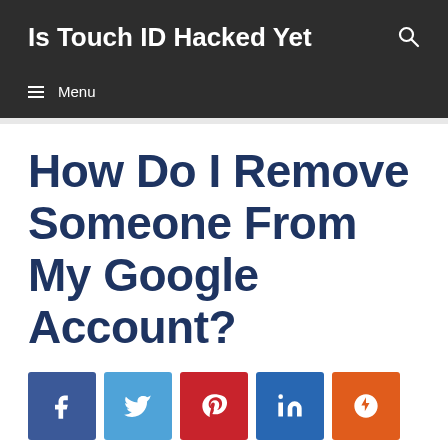Is Touch ID Hacked Yet
How Do I Remove Someone From My Google Account?
[Figure (other): Social sharing buttons: Facebook, Twitter, Pinterest, LinkedIn, StumbleUpon]
You'll need to go to your Google account to see if